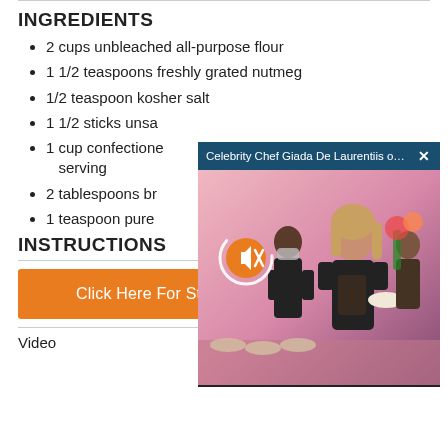INGREDIENTS
2 cups unbleached all-purpose flour
1 1/2 teaspoons freshly grated nutmeg
1/2 teaspoon kosher salt
1 1/2 sticks unsa[lted butter]
1 cup confectione[rs' sugar, plus more for] serving
2 tablespoons br[andy]
1 teaspoon pure [vanilla extract]
[Figure (screenshot): Video popup overlay showing 'Celebrity Chef Giada De Laurentiis on La...' with a close button and a photo of a woman at a catering event, with a mute button and loading spinner.]
INSTRUCTIONS
Click Here For Step-By-Step Instructions
Video